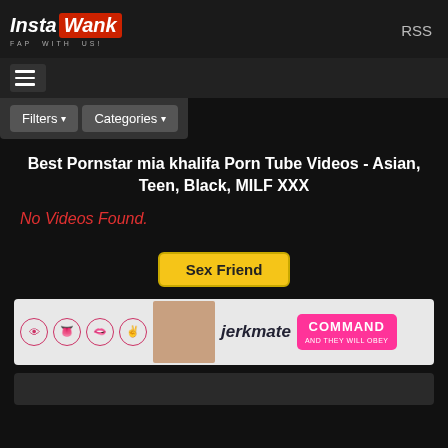InstaWank FAP WITH US! RSS
[Figure (logo): InstaWank logo with red background on 'Wank', tagline 'FAP WITH US!']
RSS
[Figure (infographic): Hamburger menu icon (three horizontal lines)]
Filters ▾   Categories ▾
Best Pornstar mia khalifa Porn Tube Videos - Asian, Teen, Black, MILF XXX
No Videos Found.
Sex Friend
[Figure (infographic): Jerkmate advertisement banner with pink icons and 'COMMAND AND THEY WILL OBEY' text on pink background]